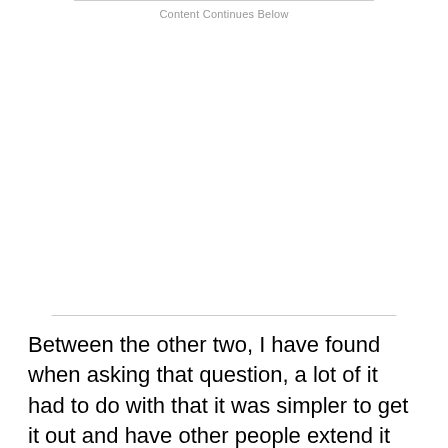Content Continues Below
Between the other two, I have found when asking that question, a lot of it had to do with that it was simpler to get it out and have other people extend it and make use of it along with the original developer. And after that